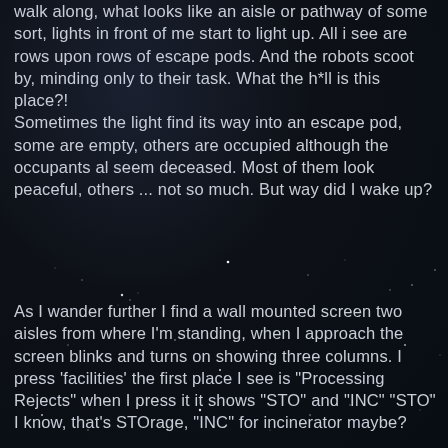walk along, what looks like an aisle or pathway of some sort, lights in front of me start to light up. All i see are rows upon rows of escape pods. And the robots scoot by, minding only to their task. What the h*ll is this place?!
Sometimes the light find its way into an escape pod, some are empty, others are occupied although the occupants al seem deceased. Most of them look peaceful, others ... not so much. But way did I wake up?
[Figure (photo): Dark starfield background — deep space with scattered faint stars and a dark blue-black background]
As I wander further I find a wall mounted screen two aisles from where I'm standing, when I approach the screen blinks and turns on showing three columns. I press 'facilities' the first place I see is "Processing Rejects" when I press it it shows "STO" and "INC" "STO" I know, that's STOrage, "INC" for incinerator maybe?